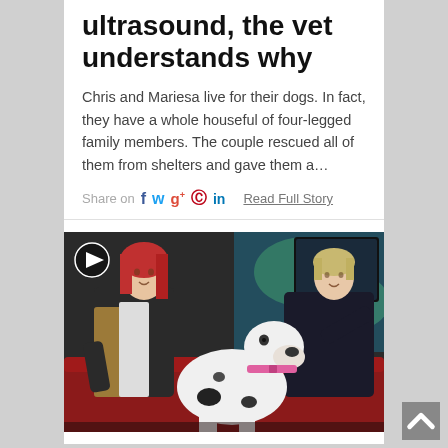ultrasound, the vet understands why
Chris and Mariesa live for their dogs. In fact, they have a whole houseful of four-legged family members. The couple rescued all of them from shelters and gave them a…
Share on  f  t  g+   pinterest  in    Read Full Story
[Figure (photo): Two women seated on a red couch on a TV talk show set; one has long red hair and wears a patterned jacket, the other has short blonde hair and wears a dark top. A large white dog with black spots and a pink collar sits between them looking toward the blonde woman who holds something toward the dog. A play button icon is visible in the upper left corner.]